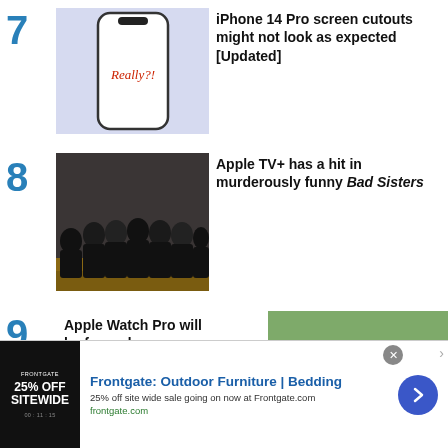7 iPhone 14 Pro screen cutouts might not look as expected [Updated]
[Figure (illustration): iPhone outline on light blue background with 'Really?!' text on screen]
8 Apple TV+ has a hit in murderously funny Bad Sisters
[Figure (photo): Group of women in black outfits standing together]
9 Apple Watch Pro will be for endurance...
[Figure (photo): Aerial/overhead shot related to Apple Watch Pro endurance story]
[Figure (other): Frontgate advertisement banner: Outdoor Furniture | Bedding, 25% off site wide sale]